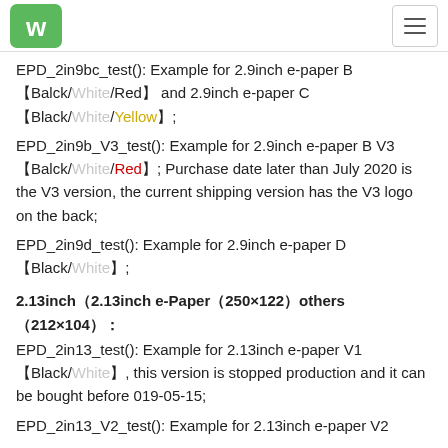Waveshare logo and navigation
EPD_2in9bc_test(): Example for 2.9inch e-paper B 【Balck/White/Red】 and 2.9inch e-paper C 【Black/White/Yellow】;
EPD_2in9b_V3_test(): Example for 2.9inch e-paper B V3 【Balck/White/Red】; Purchase date later than July 2020 is the V3 version, the current shipping version has the V3 logo on the back;
EPD_2in9d_test(): Example for 2.9inch e-paper D 【Black/White】;
2.13inch（2.13inch e-Paper（250×122）others（212×104）：
EPD_2in13_test(): Example for 2.13inch e-paper V1 【Black/White】, this version is stopped production and it can be bought before 019-05-15;
EPD_2in13_V2_test(): Example for 2.13inch e-paper V2